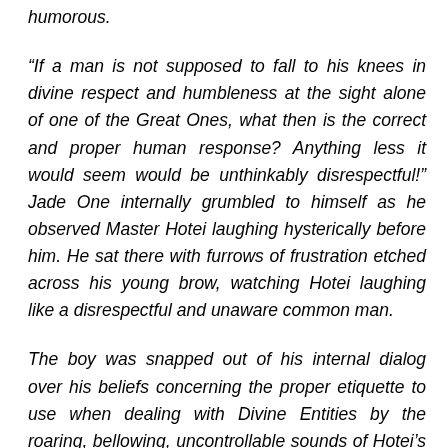humorous.
“If a man is not supposed to fall to his knees in divine respect and humbleness at the sight alone of one of the Great Ones, what then is the correct and proper human response? Anything less it would seem would be unthinkably disrespectful!” Jade One internally grumbled to himself as he observed Master Hotei laughing hysterically before him. He sat there with furrows of frustration etched across his young brow, watching Hotei laughing like a disrespectful and unaware common man.
The boy was snapped out of his internal dialog over his beliefs concerning the proper etiquette to use when dealing with Divine Entities by the roaring, bellowing, uncontrollable sounds of Hotei’s near hysterical laughter. The Master’s face was covered with tears of pure